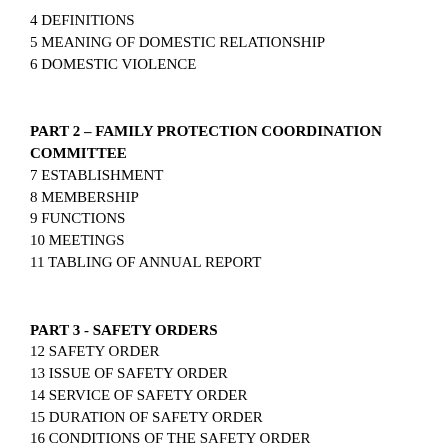4 DEFINITIONS
5 MEANING OF DOMESTIC RELATIONSHIP
6 DOMESTIC VIOLENCE
PART 2 – FAMILY PROTECTION COORDINATION COMMITTEE
7 ESTABLISHMENT
8 MEMBERSHIP
9 FUNCTIONS
10 MEETINGS
11 TABLING OF ANNUAL REPORT
PART 3 - SAFETY ORDERS
12 SAFETY ORDER
13 ISSUE OF SAFETY ORDER
14 SERVICE OF SAFETY ORDER
15 DURATION OF SAFETY ORDER
16 CONDITIONS OF THE SAFETY ORDER
PART 4 - PROTECTION ORDERS